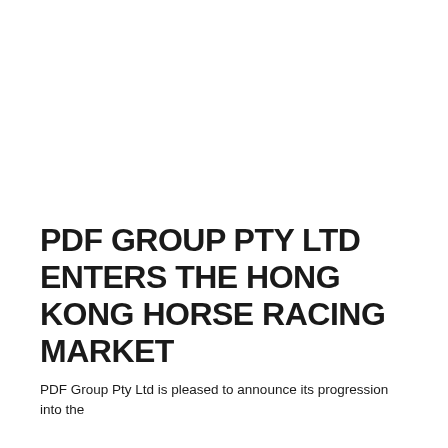PDF GROUP PTY LTD ENTERS THE HONG KONG HORSE RACING MARKET
PDF Group Pty Ltd is pleased to announce its progression into the